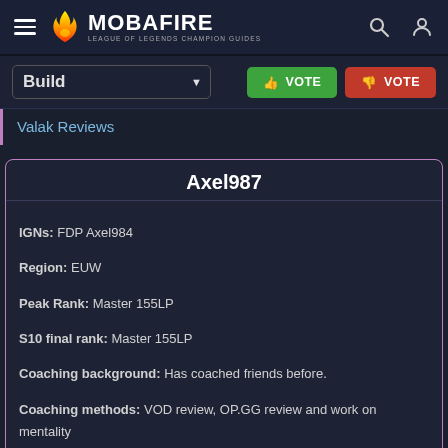MOBAFIRE LEAGUE OF LEGENDS CHAMPION GUIDES
Build ▼   VOTE   VOTE
Valak Reviews
Axel987
IGNs: FDP Axel984
Region: EUW
Peak Rank: Master 155LP
S10 final rank: Master 155LP
Coaching background: Has coached friends before.
Coaching methods: VOD review, OP.GG review and work on mentality
Schedule: Usually free between the afternoon and evening (UTC).
Prices: 10€ per session - One session equates to 1.5-2 hours.
Additional Info: Peaked as Rank 9 Kayn worldwide on LeagueOfGraph
Contact Info: Discord: TMA Axel984#2067
Axel987 Reviews